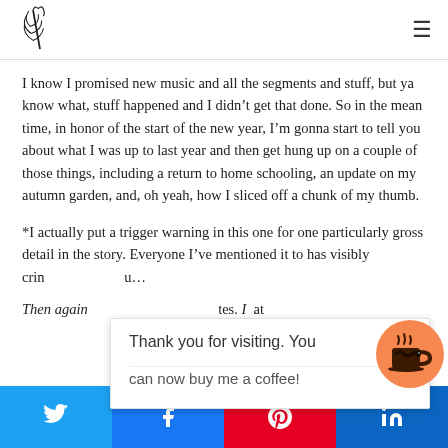[Logo] [Hamburger menu]
I know I promised new music and all the segments and stuff, but ya know what, stuff happened and I didn't get that done. So in the mean time, in honor of the start of the new year, I'm gonna start to tell you about what I was up to last year and then get hung up on a couple of those things, including a return to home schooling, an update on my autumn garden, and, oh yeah, how I sliced off a chunk of my thumb.
*I actually put a trigger warning in this one for one particularly gross detail in the story. Everyone I've mentioned it to has visibly crin[ged...] u...
Then again [tes.] [at
Thank you for visiting. You
can now buy me a coffee!
Twitter | Facebook | Pinterest | LinkedIn